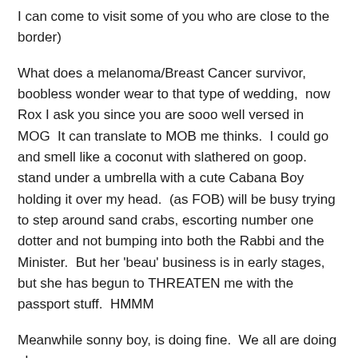I can come to visit some of you who are close to the border)
What does a melanoma/Breast Cancer survivor, boobless wonder wear to that type of wedding,  now Rox I ask you since you are sooo well versed in MOG  It can translate to MOB me thinks.  I could go and smell like a coconut with slathered on goop.  stand under a umbrella with a cute Cabana Boy holding it over my head.  (as FOB) will be busy trying to step around sand crabs, escorting number one dotter and not bumping into both the Rabbi and the Minister.  But her 'beau' business is in early stages, but she has begun to THREATEN me with the passport stuff.  HMMM
Meanwhile sonny boy, is doing fine.  We all are doing ok.